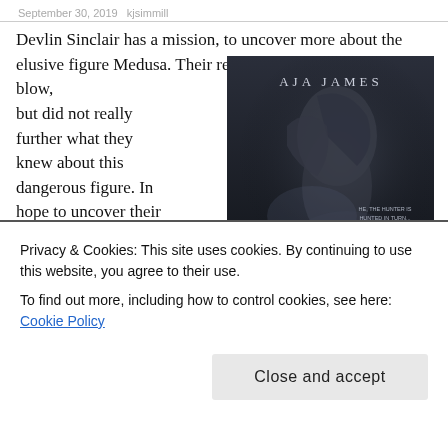September 30, 2019   kjsimmill
Devlin Sinclair has a mission, to uncover more about the elusive figure Medusa. Their recently alliances have struck a blow, but did not really further what they knew about this dangerous figure. In hope to uncover their secrets he inserts himself into the life of
[Figure (photo): Book cover for AJA JAMES. Dark atmospheric image showing a shirtless male figure. Text reads: HE, THE HUNTER IS HUNTED IN TURN... BUT OH WHEN SHE CATCHES HIM THE DELICIOUS BURN...]
Privacy & Cookies: This site uses cookies. By continuing to use this website, you agree to their use.
To find out more, including how to control cookies, see here: Cookie Policy
Close and accept
bring. Grace had agreed to meet him for one reason,